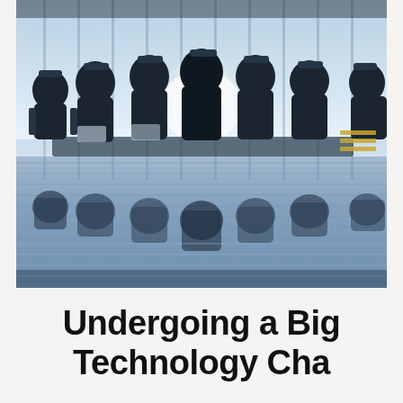[Figure (photo): Silhouettes of business people sitting around a conference table in a modern glass office, with bright backlight creating dramatic contrast. The table surface has reflections of the seated figures below.]
Undergoing a Big Technology Cha...